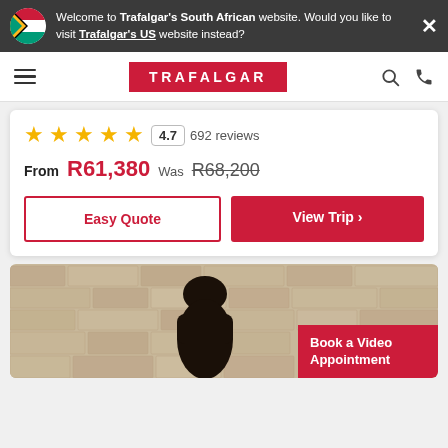Welcome to Trafalgar's South African website. Would you like to visit Trafalgar's US website instead?
[Figure (logo): Trafalgar navigation bar with hamburger menu, red TRAFALGAR logo, search and phone icons]
4.7   692 reviews
From R61,380  Was R68,200
Easy Quote
View Trip >
[Figure (photo): Person wearing dark hat/clothing at the Western Wall, stone texture background]
Book a Video Appointment